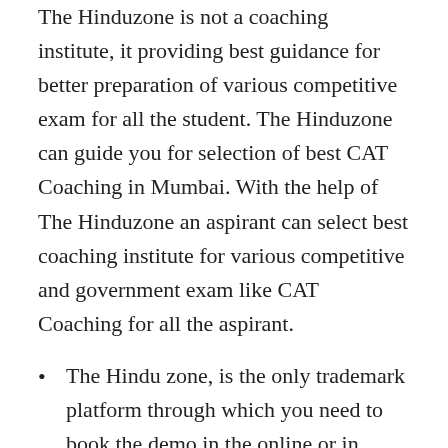The Hinduzone is not a coaching institute, it providing best guidance for better preparation of various competitive exam for all the student. The Hinduzone can guide you for selection of best CAT Coaching in Mumbai. With the help of The Hinduzone an aspirant can select best coaching institute for various competitive and government exam like CAT Coaching for all the aspirant.
The Hindu zone, is the only trademark platform through which you need to book the demo in the online or in classroom coaching center. The Hindu zone platform is having